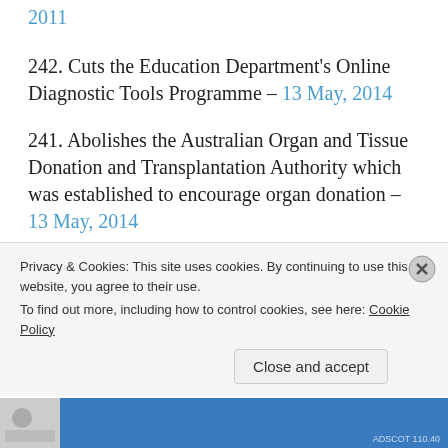2011
242. Cuts the Education Department's Online Diagnostic Tools Programme – 13 May, 2014
241. Abolishes the Australian Organ and Tissue Donation and Transplantation Authority which was established to encourage organ donation – 13 May, 2014
240.  Introduces annual reviews for veterans receiving military compensation payments due to illness or injury – 13 May, 2014
Privacy & Cookies: This site uses cookies. By continuing to use this website, you agree to their use. To find out more, including how to control cookies, see here: Cookie Policy
Close and accept